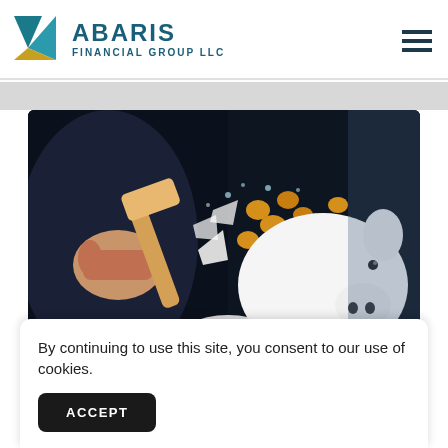[Figure (logo): Abaris Financial Group LLC logo with triangular geometric mark in teal and yellow and company name in dark teal]
[Figure (photo): Photo of a person smashing a white ceramic piggy bank with a hammer, coins flying everywhere, dramatic action shot on dark background]
By continuing to use this site, you consent to our use of cookies.
ACCEPT